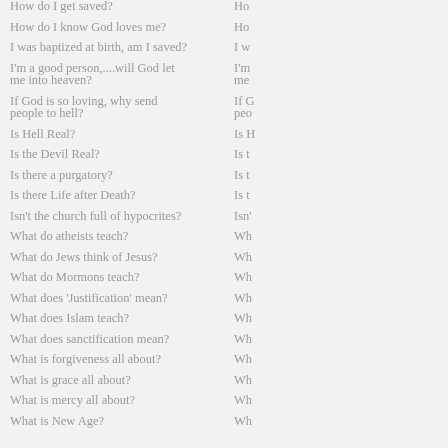How do I get saved?
How do I know God loves me?
I was baptized at birth, am I saved?
I'm a good person,....will God let me into heaven?
If God is so loving, why send people to hell?
Is Hell Real?
Is the Devil Real?
Is there a purgatory?
Is there Life after Death?
Isn't the church full of hypocrites?
What do atheists teach?
What do Jews think of Jesus?
What do Mormons teach?
What does 'Justification' mean?
What does Islam teach?
What does sanctification mean?
What is forgiveness all about?
What is grace all about?
What is mercy all about?
What is New Age?